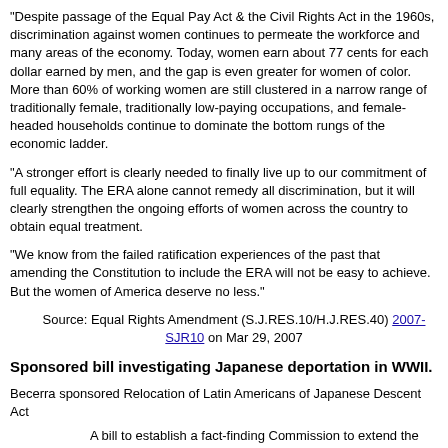"Despite passage of the Equal Pay Act & the Civil Rights Act in the 1960s, discrimination against women continues to permeate the workforce and many areas of the economy. Today, women earn about 77 cents for each dollar earned by men, and the gap is even greater for women of color. More than 60% of working women are still clustered in a narrow range of traditionally female, traditionally low-paying occupations, and female-headed households continue to dominate the bottom rungs of the economic ladder.
"A stronger effort is clearly needed to finally live up to our commitment of full equality. The ERA alone cannot remedy all discrimination, but it will clearly strengthen the ongoing efforts of women across the country to obtain equal treatment.
"We know from the failed ratification experiences of the past that amending the Constitution to include the ERA will not be easy to achieve. But the women of America deserve no less."
Source: Equal Rights Amendment (S.J.RES.10/H.J.RES.40) 2007-SJR10 on Mar 29, 2007
Sponsored bill investigating Japanese deportation in WWII.
Becerra sponsored Relocation of Latin Americans of Japanese Descent Act
A bill to establish a fact-finding Commission to extend the study of a prior Commission to investigate and determine circumstances surrounding the relocation, internment, and deportation to Axis countries of Latin Americans of Japanese descent during WWII.
Establishes the Commission on Wartime Relocation and Internment of Latin Americans of Japanese descent.
Directs the Commission to extend the study of the Commission on Wartime Relocation and Internment of Civilians to investigate U.S.